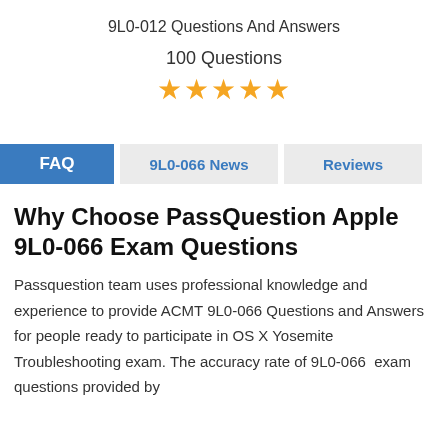9L0-012 Questions And Answers
100 Questions
[Figure (other): Five orange star rating icons]
FAQ  9L0-066 News  Reviews
Why Choose PassQuestion Apple 9L0-066 Exam Questions
Passquestion team uses professional knowledge and experience to provide ACMT 9L0-066 Questions and Answers for people ready to participate in OS X Yosemite Troubleshooting exam. The accuracy rate of 9L0-066  exam questions provided by